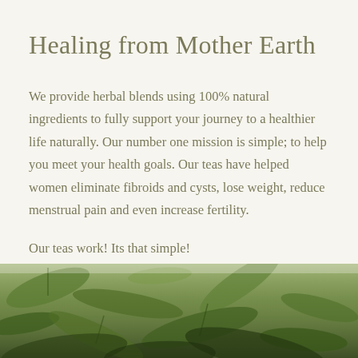Healing from Mother Earth
We provide herbal blends using 100% natural ingredients to fully support your journey to a healthier life naturally. Our number one mission is simple; to help you meet your health goals. Our teas have helped women eliminate fibroids and cysts, lose weight, reduce menstrual pain and even increase fertility.

Our teas work! Its that simple!
[Figure (photo): Close-up photo of green herbs and leaves forming a natural background at the bottom of the page]